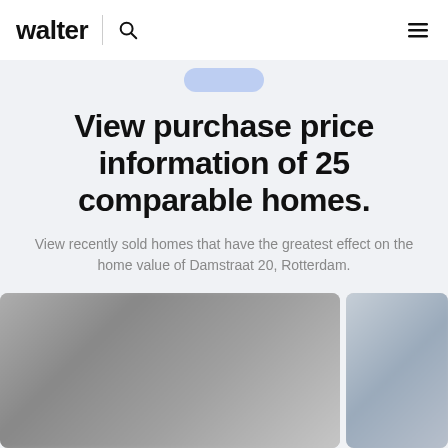walter
View purchase price information of 25 comparable homes.
View recently sold homes that have the greatest effect on the home value of Damstraat 20, Rotterdam.
[Figure (photo): Blurred interior photo of a home]
[Figure (photo): Blurred exterior or secondary photo of a home]